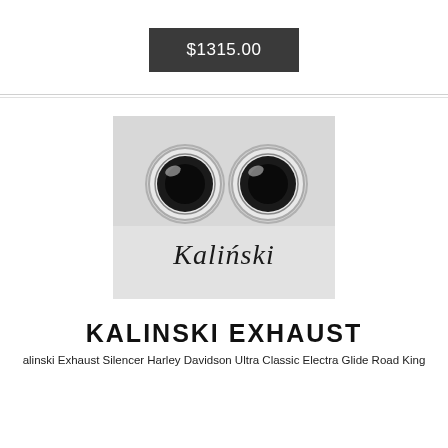$1315.00
[Figure (photo): Two chrome exhaust pipe ends viewed from front, showing dark circular openings, with Kaliński script logo below on light background]
KALINSKI EXHAUST
alinski Exhaust Silencer Harley Davidson Ultra Classic Electra Glide Road King